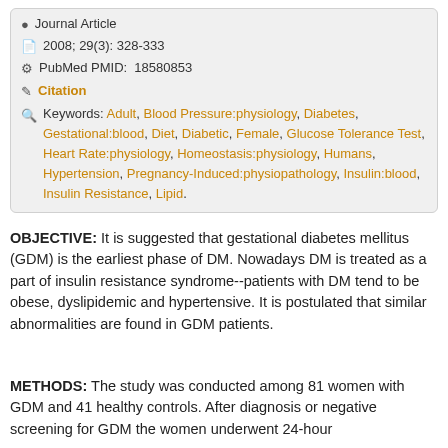Journal Article
2008; 29(3): 328-333
PubMed PMID: 18580853
Citation
Keywords: Adult, Blood Pressure:physiology, Diabetes, Gestational:blood, Diet, Diabetic, Female, Glucose Tolerance Test, Heart Rate:physiology, Homeostasis:physiology, Humans, Hypertension, Pregnancy-Induced:physiopathology, Insulin:blood, Insulin Resistance, Lipid.
OBJECTIVE: It is suggested that gestational diabetes mellitus (GDM) is the earliest phase of DM. Nowadays DM is treated as a part of insulin resistance syndrome--patients with DM tend to be obese, dyslipidemic and hypertensive. It is postulated that similar abnormalities are found in GDM patients.
METHODS: The study was conducted among 81 women with GDM and 41 healthy controls. After diagnosis or negative screening for GDM the women underwent 24-hour